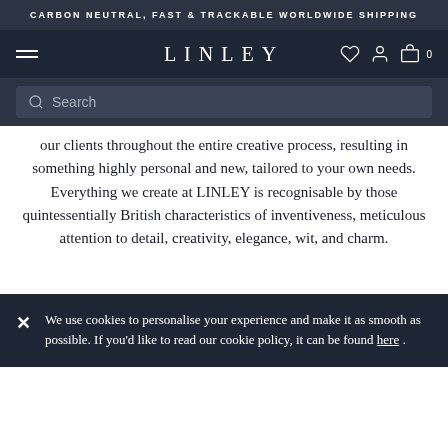CARBON NEUTRAL, FAST & TRACKABLE WORLDWIDE SHIPPING
[Figure (screenshot): LINLEY website navigation bar with hamburger menu, LINLEY logo, and icons for wishlist, account, and cart (0 items)]
[Figure (screenshot): Search bar with magnifying glass icon and placeholder text 'Search']
our clients throughout the entire creative process, resulting in something highly personal and new, tailored to your own needs. Everything we create at LINLEY is recognisable by those quintessentially British characteristics of inventiveness, meticulous attention to detail, creativity, elegance, wit, and charm.
We use cookies to personalise your experience and make it as smooth as possible. If you'd like to read our cookie policy, it can be found here .